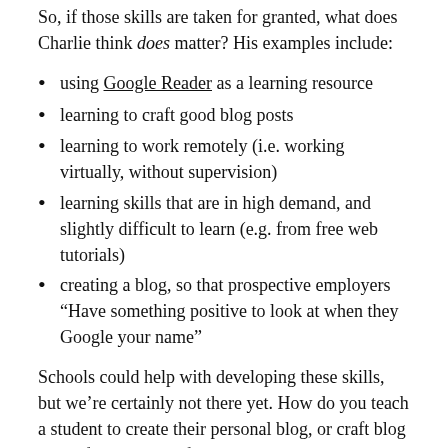So, if those skills are taken for granted, what does Charlie think does matter? His examples include:
using Google Reader as a learning resource
learning to craft good blog posts
learning to work remotely (i.e. working virtually, without supervision)
learning skills that are in high demand, and slightly difficult to learn (e.g. from free web tutorials)
creating a blog, so that prospective employers “Have something positive to look at when they Google your name”
Schools could help with developing these skills, but we’re certainly not there yet. How do you teach a student to create their personal blog, or craft blog posts, for example, if blogs sites are banned by your school’s web filters?